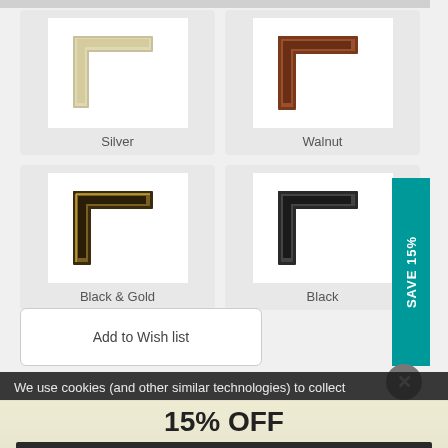[Figure (screenshot): Four frame style options in a 2x2 grid: Silver, Walnut, Black & Gold, Black. Each shows a corner sample of the frame.]
Silver
Walnut
Black & Gold
Black
Add to Wish list
SAVE 15%
We use cookies (and other similar technologies) to collect
15% OFF
ACTIVATE DISCOUNT